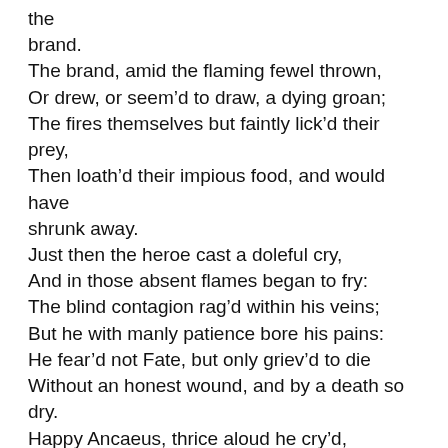the
brand.
The brand, amid the flaming fewel thrown,
Or drew, or seem'd to draw, a dying groan;
The fires themselves but faintly lick'd their prey,
Then loath'd their impious food, and would have shrunk away.
Just then the heroe cast a doleful cry,
And in those absent flames began to fry:
The blind contagion rag'd within his veins;
But he with manly patience bore his pains:
He fear'd not Fate, but only griev'd to die
Without an honest wound, and by a death so dry.
Happy Ancaeus, thrice aloud he cry'd,
With what becoming fate in arms he dy'd!